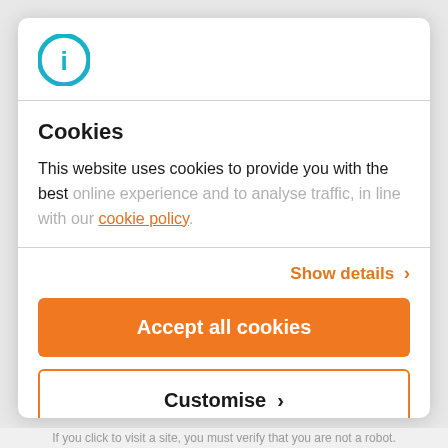[Figure (logo): Cookiebot logo – a teal/blue circle with a lowercase 'i' inside]
Cookies
This website uses cookies to provide you with the best online experience and to analyse traffic, in line with our cookie policy.
Show details >
Accept all cookies
Customise >
Powered by Cookiebot by Usercentrics
If you click to visit a site, you must verify that you are not a robot.